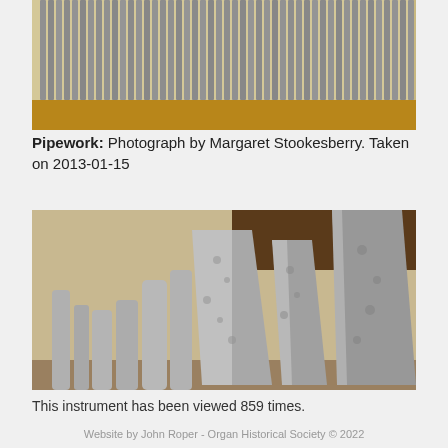[Figure (photo): Close-up photograph of organ pipework - rows of metallic pipes arranged in a row, viewed from the side, showing their tops against a wooden background.]
Pipework: Photograph by Margaret Stookesberry. Taken on 2013-01-15
[Figure (photo): Close-up photograph of large organ pipes made of metal (tin/lead alloy), showing hammered texture on the pipe surfaces. Pipes of various sizes are arranged together, viewed from below looking up.]
This instrument has been viewed 859 times.
Website by John Roper - Organ Historical Society © 2022